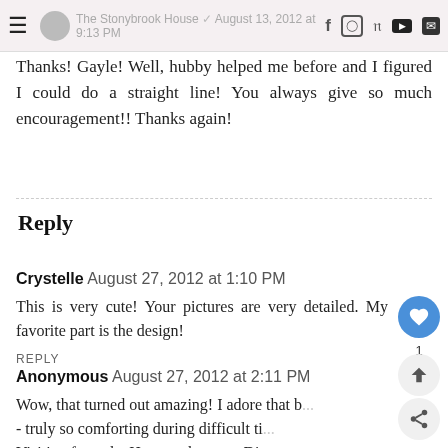The Stonybrook House · August 13, 2012 at 9:13 PM
Thanks! Gayle! Well, hubby helped me before and I figured I could do a straight line! You always give so much encouragement!! Thanks again!
Reply
Crystelle August 27, 2012 at 1:10 PM
This is very cute! Your pictures are very detailed. My favorite part is the design!
REPLY
Anonymous August 27, 2012 at 2:11 PM
Wow, that turned out amazing! I adore that b... - truly so comforting during difficult ti... Visiting from the Homemaker on a Dime pa... Great job!!